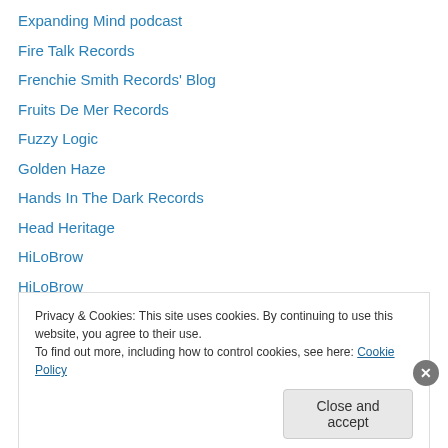Expanding Mind podcast
Fire Talk Records
Frenchie Smith Records' Blog
Fruits De Mer Records
Fuzzy Logic
Golden Haze
Hands In The Dark Records
Head Heritage
HiLoBrow
HiLoBrow
Hordes of Hesh
It's Psychedelic, Baby! Magazine
Jeffrey J. Kripal (author, Chair of the Department of Religious Studies at
Privacy & Cookies: This site uses cookies. By continuing to use this website, you agree to their use.
To find out more, including how to control cookies, see here: Cookie Policy
Close and accept